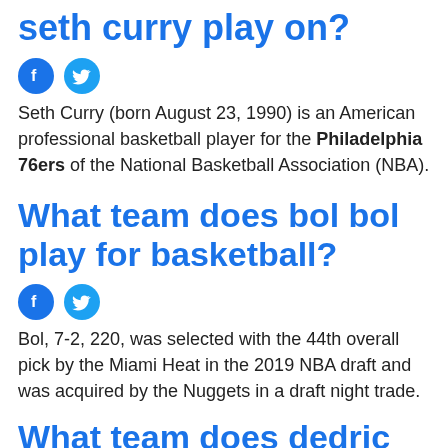seth curry play on?
[Figure (other): Facebook and Twitter social share icons]
Seth Curry (born August 23, 1990) is an American professional basketball player for the Philadelphia 76ers of the National Basketball Association (NBA).
What team does bol bol play for basketball?
[Figure (other): Facebook and Twitter social share icons]
Bol, 7-2, 220, was selected with the 44th overall pick by the Miami Heat in the 2019 NBA draft and was acquired by the Nuggets in a draft night trade.
What team does dedric